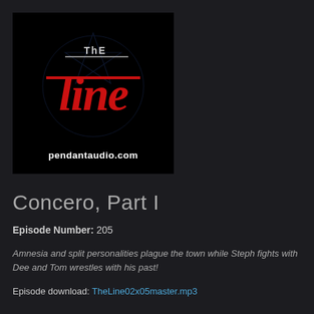[Figure (logo): The Line podcast logo — black background with a red gothic-style 'The Line' text over a faint star/pentagram shape, with 'pendantaudio.com' in white bold text below the logo graphic]
Concero, Part I
Episode Number: 205
Amnesia and split personalities plague the town while Steph fights with Dee and Tom wrestles with his past!
Episode download: TheLine02x05master.mp3